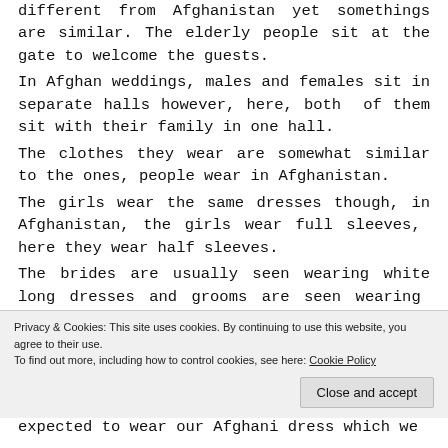different from Afghanistan yet somethings are similar. The elderly people sit at the gate to welcome the guests.
In Afghan weddings, males and females sit in separate halls however, here, both of them sit with their family in one hall.
The clothes they wear are somewhat similar to the ones, people wear in Afghanistan.
The girls wear the same dresses though, in Afghanistan, the girls wear full sleeves, here they wear half sleeves.
The brides are usually seen wearing white long dresses and grooms are seen wearing suits.
Privacy & Cookies: This site uses cookies. By continuing to use this website, you agree to their use.
To find out more, including how to control cookies, see here: Cookie Policy
expected to wear our Afghani dress which we